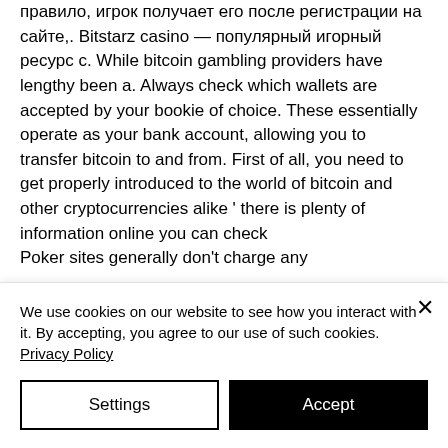правило, игрок получает его после регистрации на сайте,. Bitstarz casino — популярный игорный ресурс с. While bitcoin gambling providers have lengthy been a. Always check which wallets are accepted by your bookie of choice. These essentially operate as your bank account, allowing you to transfer bitcoin to and from. First of all, you need to get properly introduced to the world of bitcoin and other cryptocurrencies alike ' there is plenty of information online you can check
Poker sites generally don't charge any
We use cookies on our website to see how you interact with it. By accepting, you agree to our use of such cookies. Privacy Policy
Settings
Accept